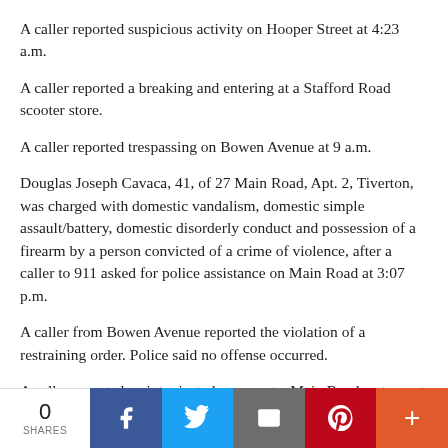A caller reported suspicious activity on Hooper Street at 4:23 a.m.
A caller reported a breaking and entering at a Stafford Road scooter store.
A caller reported trespassing on Bowen Avenue at 9 a.m.
Douglas Joseph Cavaca, 41, of 27 Main Road, Apt. 2, Tiverton, was charged with domestic vandalism, domestic simple assault/battery, domestic disorderly conduct and possession of a firearm by a person convicted of a crime of violence, after a caller to 911 asked for police assistance on Main Road at 3:07 p.m.
A caller from Bowen Avenue reported the violation of a restraining order. Police said no offense occurred.
A caller reported an intoxicated person at a Main Road restaurant just before 10 p.m. Police deemed the call unfounded.
Sunday, May 15
[Figure (infographic): Social sharing bar with share count 0, Facebook, Twitter, Email, Pinterest, and More buttons]